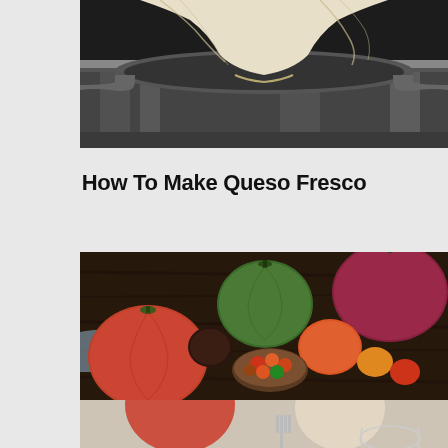[Figure (photo): Close-up photograph of a cheesecloth draped over a stainless steel pot/colander, used for straining queso fresco cheese]
How To Make Queso Fresco
[Figure (photo): Overhead flat-lay photograph of various colorful heirloom tomatoes arranged on a dark wooden surface with a cloth napkin and small bowl of cherry tomatoes]
[Figure (photo): Partial overhead photograph showing tomatoes and a fork on a light surface, partially cut off at bottom of page]